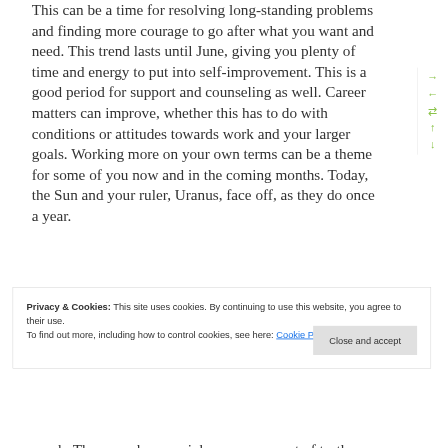This can be a time for resolving long-standing problems and finding more courage to go after what you want and need. This trend lasts until June, giving you plenty of time and energy to put into self-improvement. This is a good period for support and counseling as well. Career matters can improve, whether this has to do with conditions or attitudes towards work and your larger goals. Working more on your own terms can be a theme for some of you now and in the coming months. Today, the Sun and your ruler, Uranus, face off, as they do once a year.
Privacy & Cookies: This site uses cookies. By continuing to use this website, you agree to their use. To find out more, including how to control cookies, see here: Cookie Policy
much. There can be an epiphany or moment of truth